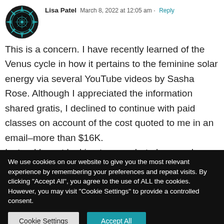[Figure (illustration): Circular avatar/profile image with teal/green star-burst decorative border pattern, dark background center]
Lisa Patel  March 8, 2022 at 12:05 am  Reply
This is a concern. I have recently learned of the Venus cycle in how it pertains to the feminine solar energy via several YouTube videos by Sasha Rose. Although I appreciated the information shared gratis, I declined to continue with paid classes on account of the cost quoted to me in an email–more than $16K.
Instead I went looking to see what else may have been written on the subject, where I found 2 CIA
We use cookies on our website to give you the most relevant experience by remembering your preferences and repeat visits. By clicking "Accept All", you agree to the use of ALL the cookies. However, you may visit "Cookie Settings" to provide a controlled consent.
Cookie Settings
Accept All